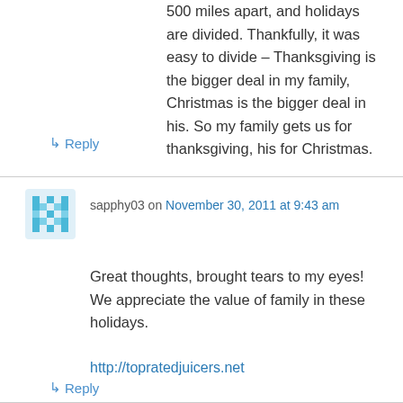500 miles apart, and holidays are divided. Thankfully, it was easy to divide – Thanksgiving is the bigger deal in my family, Christmas is the bigger deal in his. So my family gets us for thanksgiving, his for Christmas.
↳ Reply
sapphy03 on November 30, 2011 at 9:43 am
Great thoughts, brought tears to my eyes! We appreciate the value of family in these holidays.
http://topratedjuicers.net
↳ Reply